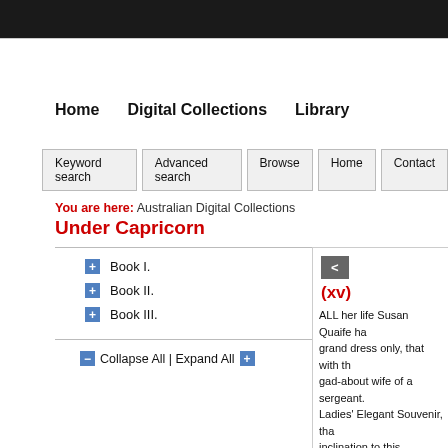Home   Digital Collections   Library
Keyword search   Advanced search   Browse   Home   Contact
You are here: Australian Digital Collections Under Capricorn
+ Book I.
+ Book II.
+ Book III.
- Collapse All | Expand All +
(xv)
ALL her life Susan Quaife had... grand dress only, that with the gad-about wife of a sergeant. Ladies' Elegant Souvenir, that inclination to this, appreciating her. Currency (he under no